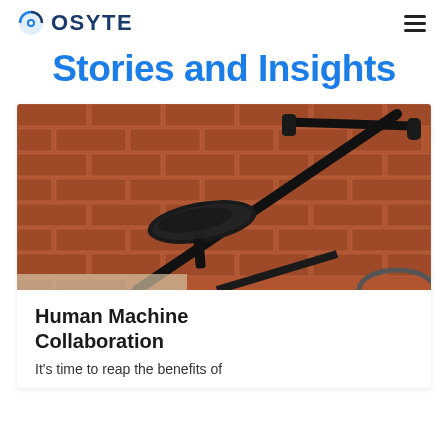OSYTE
Stories and Insights
[Figure (photo): Close-up photo of a black bicycle saddle and frame leaning against a red brick wall]
Human Machine Collaboration
It's time to reap the benefits of